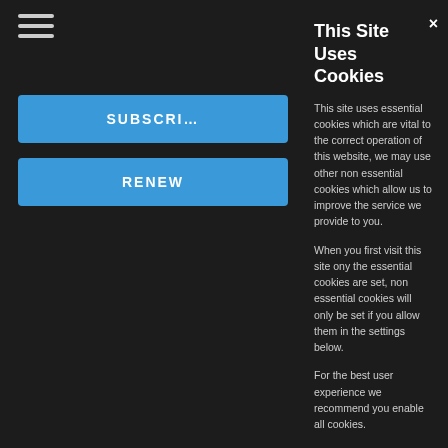[Figure (screenshot): Background of a geography magazine website with dark overlay and magazine covers visible on left side]
This Site Uses Cookies
This site uses essential cookies which are vital to the correct operation of this website, we may use other non essential cookies which allow us to improve the service we provide to you.
When you first visit this site ony the essential cookies are set, non essential cookies will only be set if you allow them in the settings below.
For the best user experience we recommend you enable all cookies.
You can change your cookie consent preferences at any time by using the 'Cookie Settings' menu option located at